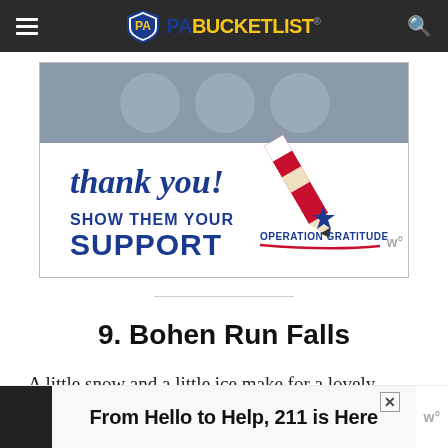PA Bucket List - navigation bar with hamburger menu and search icon
[Figure (photo): Advertisement banner: 'thank you! SHOW THEM YOUR SUPPORT - OPERATION GRATITUDE' with patriotic pencil graphic and military personnel photo]
9. Bohen Run Falls
A little snow and a little ice make for a lovely scene at Bohen Run Falls in the Pine Creek Gorge.
[Figure (infographic): Bottom advertisement strip: 'From Hello to Help, 211 is Here']